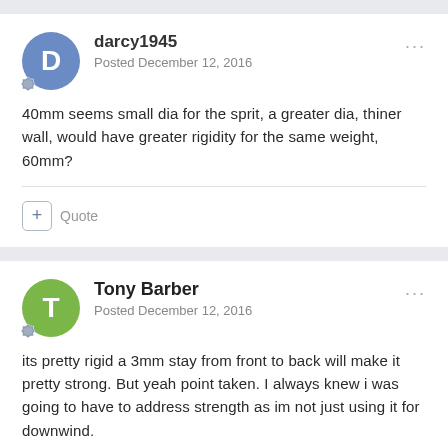darcy1945 | Posted December 12, 2016
40mm seems small dia for the sprit, a greater dia, thiner wall, would have greater rigidity for the same weight, 60mm?
Tony Barber | Posted December 12, 2016
its pretty rigid a 3mm stay from front to back will make it pretty strong. But yeah point taken. I always knew i was going to have to address strength as im not just using it for downwind.